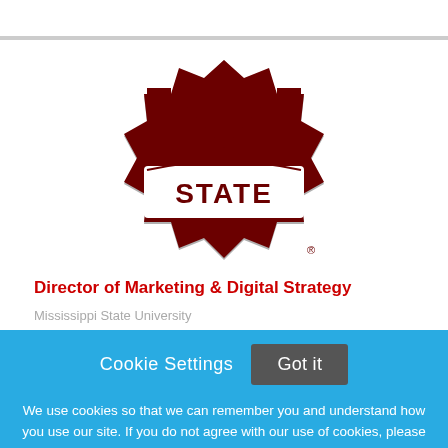[Figure (logo): Mississippi State University M-STATE logo — large dark red block letter M with a banner reading STATE across the middle, silver/gray outline, registered trademark symbol]
Director of Marketing & Digital Strategy
Mississippi State University
Cookie Settings   Got it
We use cookies so that we can remember you and understand how you use our site. If you do not agree with our use of cookies, please change the current settings found in our Cookie Policy. Otherwise, you agree to the use of the cookies as they are currently set.